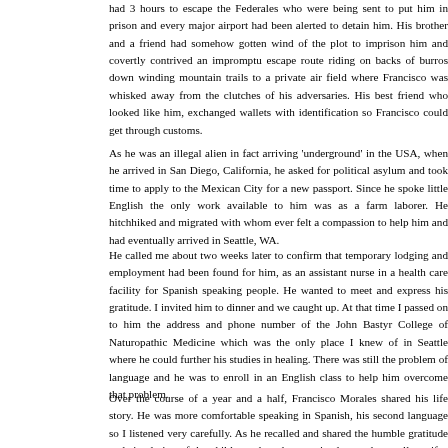had 3 hours to escape the Federales who were being sent to put him in prison and every major airport had been alerted to detain him. His brother and a friend had somehow gotten wind of the plot to imprison him and covertly contrived an impromptu escape route riding on backs of burros down winding mountain trails to a private air field where Francisco was whisked away from the clutches of his adversaries. His best friend who looked like him, exchanged wallets with identification so Francisco could get through customs.
As he was an illegal alien in fact arriving 'underground' in the USA, when he arrived in San Diego, California, he asked for political asylum and took time to apply to the Mexican City for a new passport. Since he spoke little English the only work available to him was as a farm laborer. He hitchhiked and migrated with whom ever felt a compassion to help him and had eventually arrived in Seattle, WA.
He called me about two weeks later to confirm that temporary lodging and employment had been found for him, as an assistant nurse in a health care facility for Spanish speaking people. He wanted to meet and express his gratitude. I invited him to dinner and we caught up. At that time I passed on to him the address and phone number of the John Bastyr College of Naturopathic Medicine which was the only place I knew of in Seattle where he could further his studies in healing. There was still the problem of language and he was to enroll in an English class to help him overcome that problem.
Over the course of a year and a half, Francisco Morales shared his life story. He was more comfortable speaking in Spanish, his second language so I listened very carefully. As he recalled and shared the humble gratitude and simple joy of the children when they received even the smallest gifts, his whole being lit up and overflowed with Spirit. Here was this young man struggling to study medicine in English to return to his country to help people in need. It was a privilege to